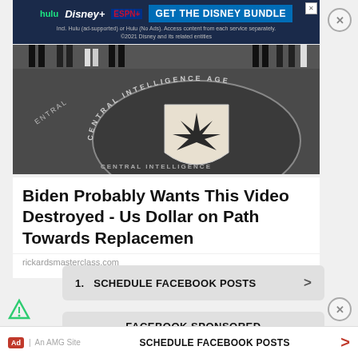[Figure (screenshot): Disney Bundle advertisement banner with Hulu, Disney+, ESPN+ logos and 'GET THE DISNEY BUNDLE' call to action button. Fine print: 'Incl. Hulu (ad-supported) or Hulu (No Ads). Access content from each service separately. ©2021 Disney and its related entities']
[Figure (photo): CIA headquarters lobby floor with the Central Intelligence Agency seal (compass rose / star emblem) on the floor, people standing around the edges]
Biden Probably Wants This Video Destroyed - Us Dollar on Path Towards Replacemen
rickardsmasterclass.com
1.  SCHEDULE FACEBOOK POSTS  >
FACEBOOK SPONSORED
SCHEDULE FACEBOOK POSTS  >
Ad  |  An AMG Site